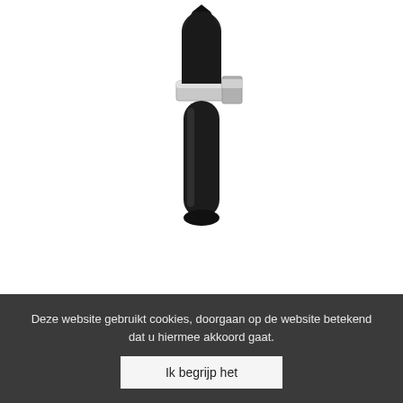[Figure (photo): A black toilet brush holder with a chrome/silver band near the top, wall-mounted style, shown on white background. The brush head is dark/black cone-shaped at top, and the cylindrical holder body is glossy black.]
PlastiQline 2020 Toiletborstelhouder zwart
€ 27,00 excl BTW € 32,67 incl BTW
Deze website gebruikt cookies, doorgaan op de website betekend dat u hiermee akkoord gaat.
Ik begrijp het